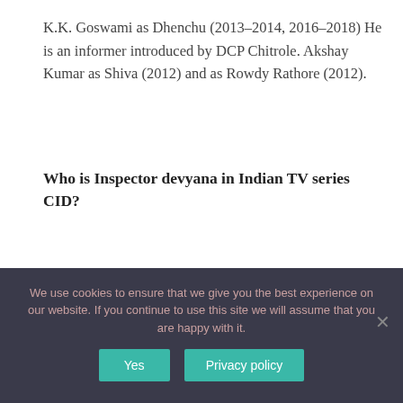K.K. Goswami as Dhenchu (2013–2014, 2016–2018) He is an informer introduced by DCP Chitrole. Akshay Kumar as Shiva (2012) and as Rowdy Rathore (2012).
Who is Inspector devyana in Indian TV series CID?
Megha Gupta as Inspector Devyana (2007–2008) Her first episode was episode 477 “ The Don’s Final Revenge ” and her last episode was episode 492 “ Mystery Of A Train Passenger “. But she was also seen in Episode 503 “ Bhoot Bangala “. Parinita Seth
We use cookies to ensure that we give you the best experience on our website. If you continue to use this site we will assume that you are happy with it.